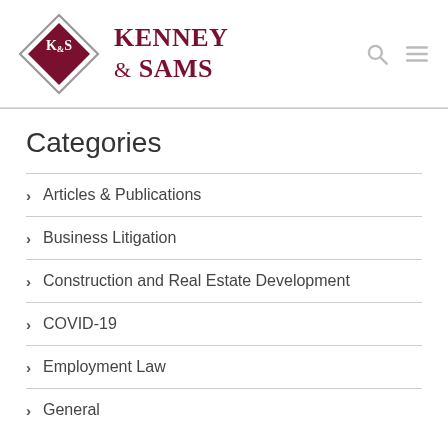[Figure (logo): Kenney & Sams law firm logo: a dark red diamond shape with K&S monogram inside, bordered by a gray diamond outline, next to the firm name 'Kenney & Sams' in dark red serif uppercase text]
Categories
Articles & Publications
Business Litigation
Construction and Real Estate Development
COVID-19
Employment Law
General